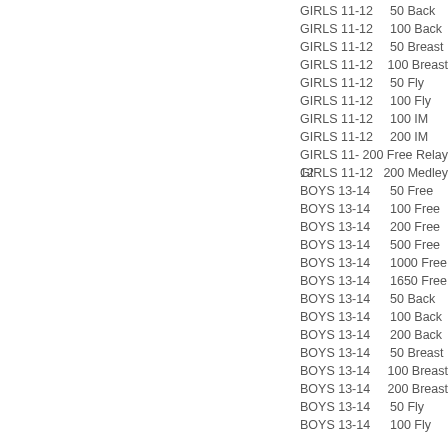GIRLS 11-12   50 Back
GIRLS 11-12   100 Back
GIRLS 11-12   50 Breast
GIRLS 11-12   100 Breast
GIRLS 11-12   50 Fly
GIRLS 11-12   100 Fly
GIRLS 11-12   100 IM
GIRLS 11-12   200 IM
GIRLS 11-12   200 Free Relay
GIRLS 11-12   200 Medley
BOYS 13-14   50 Free
BOYS 13-14   100 Free
BOYS 13-14   200 Free
BOYS 13-14   500 Free
BOYS 13-14   1000 Free
BOYS 13-14   1650 Free
BOYS 13-14   50 Back
BOYS 13-14   100 Back
BOYS 13-14   200 Back
BOYS 13-14   50 Breast
BOYS 13-14   100 Breast
BOYS 13-14   200 Breast
BOYS 13-14   50 Fly
BOYS 13-14   100 Fly